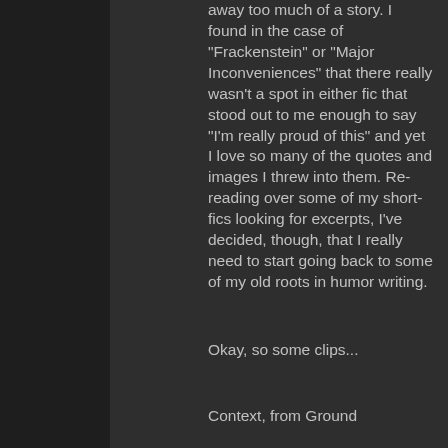away too much of a story. I found in the case of "Frackenstein" or "Major Inconveniences" that there really wasn't a spot in either fic that stood out to me enough to say "I'm really proud of this" and yet I love so many of the quotes and images I threw into them. Re-reading over some of my short-fics looking for excerpts, I've decided, though, that I really need to start going back to some of my old roots in humor writing.
Okay, so some clips...
Context, from Ground